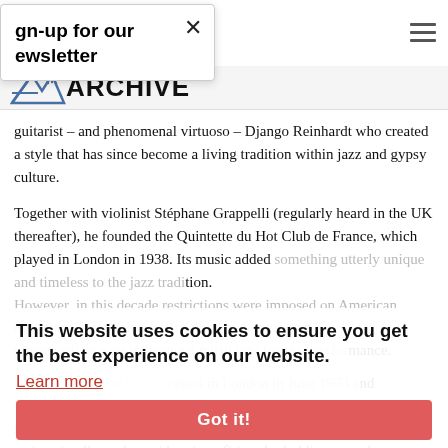Sign-up for our newsletter  ×  ≡
[Figure (logo): Jazz Archive logo with stylized angular graphic and the word ARCHIVE in bold]
guitarist – and phenomenal virtuoso – Django Reinhardt who created a style that has since become a living tradition within jazz and gypsy culture.
Together with violinist Stéphane Grappelli (regularly heard in the UK thereafter), he founded the Quintette du Hot Club de France, which played in London in 1938. Its music added something utterly unique and timeless to the jazz tradition.
However, in this decade restrictions were imposed on American musicians performing in Britain, which meant a greater reliance on indigenous musicians for jazz performance.
The No 1 Rhythm Club opened in London in June 1933 and over the next few years many more such rhythm clubs were formed throughout the country. They fostered interest in (and serious intellectual consideration of) jazz by holding record
This website uses cookies to ensure you get the best experience on our website.
Learn more
Got it!